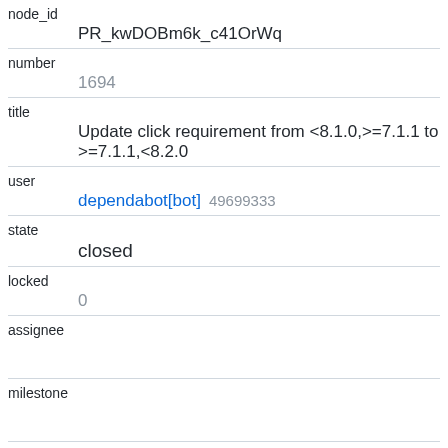| node_id | PR_kwDOBm6k_c41OrWq |
| number | 1694 |
| title | Update click requirement from <8.1.0,>=7.1.1 to >=7.1.1,<8.2.0 |
| user | dependabot[bot] 49699333 |
| state | closed |
| locked | 0 |
| assignee |  |
| milestone |  |
| comments | 1 |
| created_at | 2022.03.29T13:11:237 |